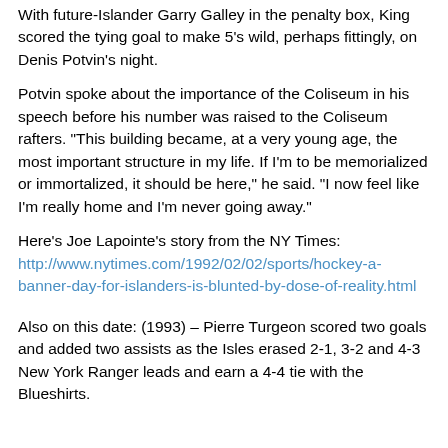With future-Islander Garry Galley in the penalty box, King scored the tying goal to make 5's wild, perhaps fittingly, on Denis Potvin's night.
Potvin spoke about the importance of the Coliseum in his speech before his number was raised to the Coliseum rafters. "This building became, at a very young age, the most important structure in my life. If I'm to be memorialized or immortalized, it should be here," he said. "I now feel like I'm really home and I'm never going away."
Here's Joe Lapointe's story from the NY Times: http://www.nytimes.com/1992/02/02/sports/hockey-a-banner-day-for-islanders-is-blunted-by-dose-of-reality.html
Also on this date: (1993) – Pierre Turgeon scored two goals and added two assists as the Isles erased 2-1, 3-2 and 4-3 New York Ranger leads and earn a 4-4 tie with the Blueshirts.